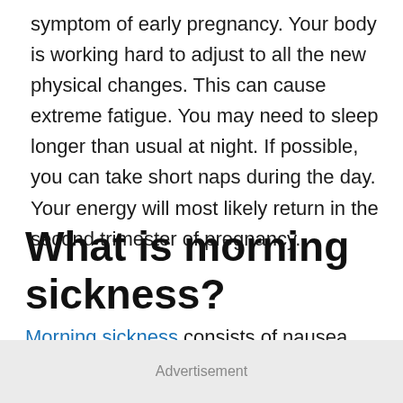symptom of early pregnancy. Your body is working hard to adjust to all the new physical changes. This can cause extreme fatigue. You may need to sleep longer than usual at night. If possible, you can take short naps during the day. Your energy will most likely return in the second trimester of pregnancy.
What is morning sickness?
Morning sickness consists of nausea and
Advertisement